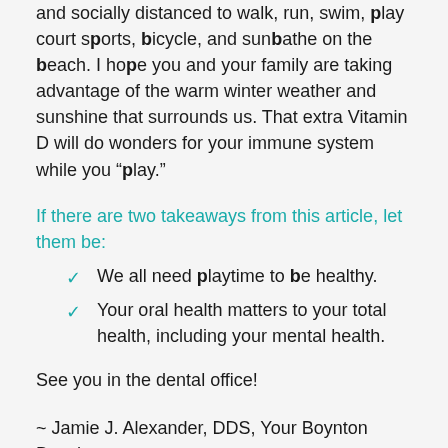and socially distanced to walk, run, swim, play court sports, bicycle, and sunbathe on the beach. I hope you and your family are taking advantage of the warm winter weather and sunshine that surrounds us. That extra Vitamin D will do wonders for your immune system while you “play.”
If there are two takeaways from this article, let them be:
We all need playtime to be healthy.
Your oral health matters to your total health, including your mental health.
See you in the dental office!
~ Jamie J. Alexander, DDS, Your Boynton Beach Dentist